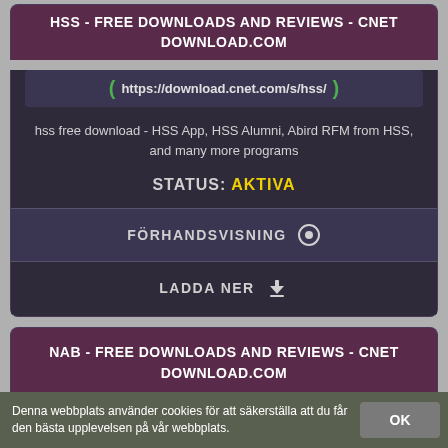HSS - FREE DOWNLOADS AND REVIEWS - CNET DOWNLOAD.COM
https://download.cnet.com/s/hss/
hss free download - HSS App, HSS Alumni, Abird RFM from HSS, and many more programs
STATUS: AKTIVA
FÖRHANDSVISNING
LADDA NER
NAB - FREE DOWNLOADS AND REVIEWS - CNET DOWNLOAD.COM
https://download.cnet.com/s/nab/
Denna webbplats använder cookies för att säkerställa att du får den bästa upplevelsen på vår webbplats.